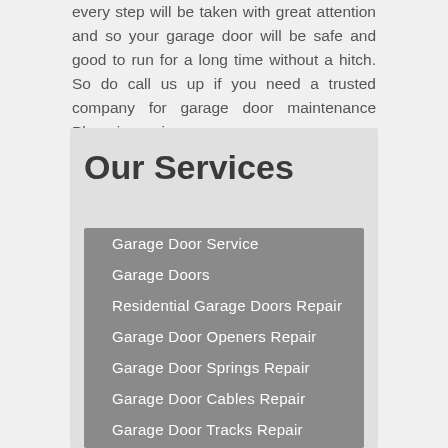every step will be taken with great attention and so your garage door will be safe and good to run for a long time without a hitch. So do call us up if you need a trusted company for garage door maintenance Phoenix service.
Our Services
Garage Door Service
Garage Doors
Residential Garage Doors Repair
Garage Door Openers Repair
Garage Door Springs Repair
Garage Door Cables Repair
Garage Door Tracks Repair
Garage Door Torsion Spring